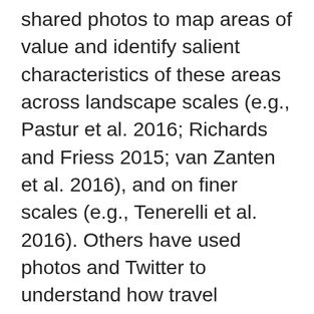shared photos to map areas of value and identify salient characteristics of these areas across landscape scales (e.g., Pastur et al. 2016; Richards and Friess 2015; van Zanten et al. 2016), and on finer scales (e.g., Tenerelli et al. 2016). Others have used photos and Twitter to understand how travel patterns (e.g., Chua, et al. 2016; Heikinheimo et al. 2017). However, few studies have utilized social media data to analyze recreation use by activity type to understand visitor